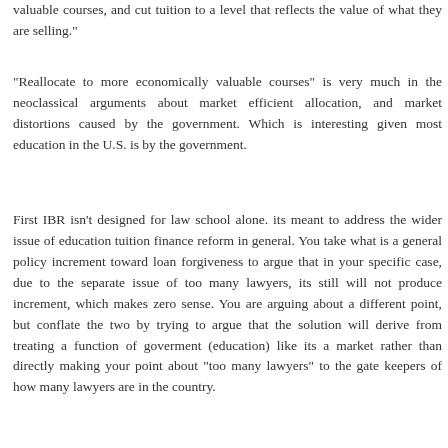valuable courses, and cut tuition to a level that reflects the value of what they are selling."
"Reallocate to more economically valuable courses" is very much in the neoclassical arguments about market efficient allocation, and market distortions caused by the government. Which is interesting given most education in the U.S. is by the government.
First IBR isn't designed for law school alone. its meant to address the wider issue of education tuition finance reform in general. You take what is a general policy increment toward loan forgiveness to argue that in your specific case, due to the separate issue of too many lawyers, its still will not produce increment, which makes zero sense. You are arguing about a different point, but conflate the two by trying to argue that the solution will derive from treating a function of goverment (education) like its a market rather than directly making your point about "too many lawyers" to the gate keepers of how many lawyers are in the country.